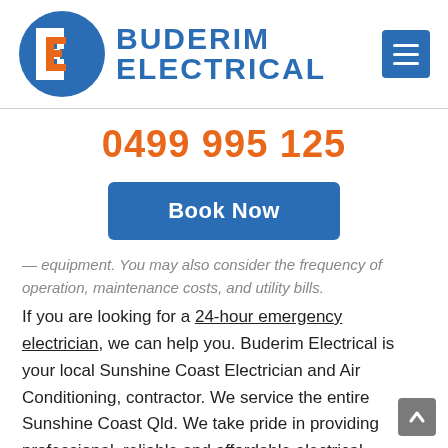[Figure (logo): Buderim Electrical logo — a blue circle with a stylized B/E monogram in white and orange, next to bold blue text reading BUDERIM ELECTRICAL]
0499 995 125
Book Now
...equipment. You may also consider the frequency of operation, maintenance costs, and utility bills.
If you are looking for a 24-hour emergency electrician, we can help you. Buderim Electrical is your local Sunshine Coast Electrician and Air Conditioning, contractor. We service the entire Sunshine Coast Qld. We take pride in providing professional, reliable and affordable electrical